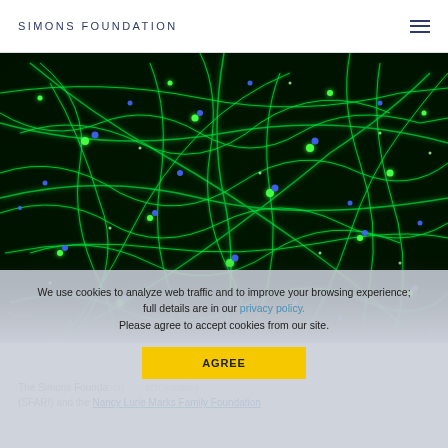SIMONS FOUNDATION
[Figure (photo): Fluorescence microscopy image of neurons with green glowing dendrites and axons on a dark background, with blue cell nuclei scattered throughout]
We use cookies to analyze web traffic and to improve your browsing experience; full details are in our privacy policy. Please agree to accept cookies from our site.
AGREE
Daniel ... Source
The Simons Foundation ... Research Initiative (SFARI) and the Nancy Lurie Marks Family Foundation